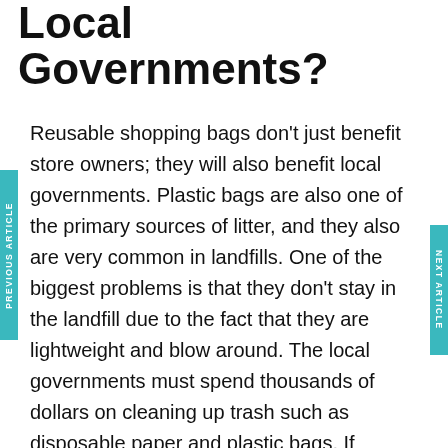Local Governments?
Reusable shopping bags don't just benefit store owners; they will also benefit local governments. Plastic bags are also one of the primary sources of litter, and they also are very common in landfills. One of the biggest problems is that they don't stay in the landfill due to the fact that they are lightweight and blow around. The local governments must spend thousands of dollars on cleaning up trash such as disposable paper and plastic bags. If consumers started relying on a reusable shopping bag manufacturer, they would use much less packaging, and litter